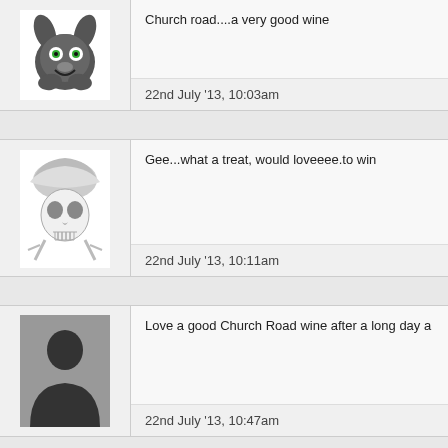[Figure (illustration): Cartoon animal avatar (dark creature with green eyes)]
Church road....a very good wine
22nd July '13, 10:03am
[Figure (illustration): Skull with hat illustration avatar]
Gee...what a treat, would loveeee.to win
22nd July '13, 10:11am
[Figure (illustration): Default silhouette user avatar]
Love a good Church Road wine after a long day a
22nd July '13, 10:47am
[Figure (illustration): Default silhouette user avatar]
I'm ready for some wine again